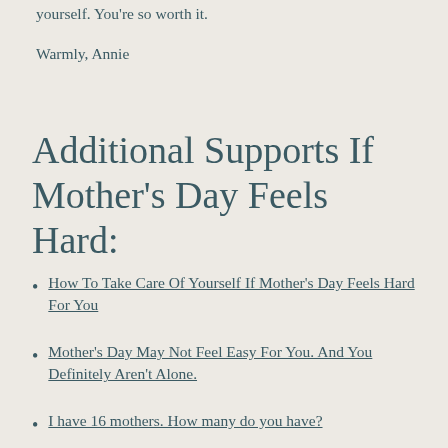yourself. You're so worth it.
Warmly, Annie
Additional Supports If Mother's Day Feels Hard:
How To Take Care Of Yourself If Mother's Day Feels Hard For You
Mother's Day May Not Feel Easy For You. And You Definitely Aren't Alone.
I have 16 mothers. How many do you have?